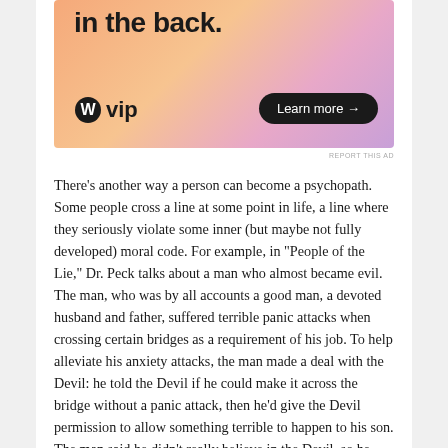[Figure (other): WordPress VIP advertisement banner with gradient orange-pink-purple background. Shows text 'in the back.' at top, WordPress W logo with 'vip' text at bottom left, and a dark rounded 'Learn more →' button at bottom right.]
REPORT THIS AD
There's another way a person can become a psychopath. Some people cross a line at some point in life, a line where they seriously violate some inner (but maybe not fully developed) moral code. For example, in "People of the Lie," Dr. Peck talks about a man who almost became evil. The man, who was by all accounts a good man, a devoted husband and father, suffered terrible panic attacks when crossing certain bridges as a requirement of his job. To help alleviate his anxiety attacks, the man made a deal with the Devil: he told the Devil if he could make it across the bridge without a panic attack, then he'd give the Devil permission to allow something terrible to happen to his son. The man said he didn't really believe in the Devil, so he knew nothing would actually happen and therefore really wasn't that bad a thing. But it's still a deal with the